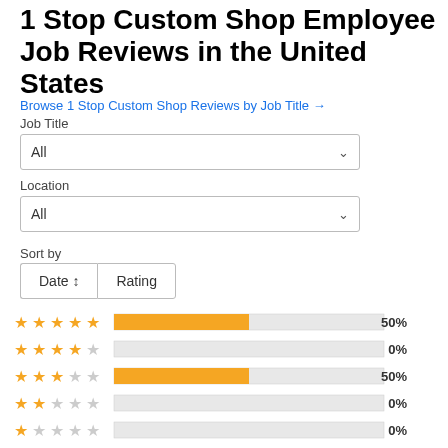1 Stop Custom Shop Employee Job Reviews in the United States
Browse 1 Stop Custom Shop Reviews by Job Title →
Job Title
All
Location
All
Sort by
Date ↕   Rating
[Figure (bar-chart): Star rating distribution]